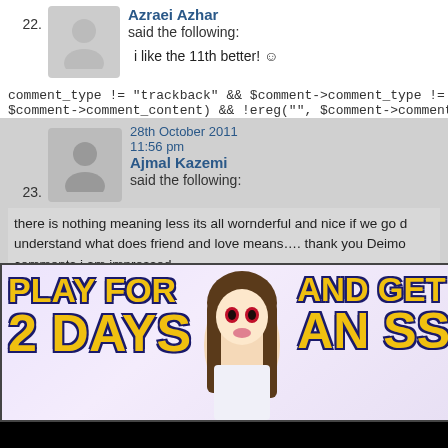22. Azraei Azhar said the following: i like the 11th better! :)
comment_type != "trackback" && $comment->comment_type != "pi $comment->comment_content) && !ereg("", $comment->comment_
23. 28th October 2011 11:56 pm Ajmal Kazemi said the following: there is nothing meaning less its all wornderful and nice if we go d understand what does friend and love means.... thank you Deimo comments i am impressed
[Figure (illustration): Advertisement banner: anime girl character with text 'PLAY FOR 2 DAYS AND GET AN SS']